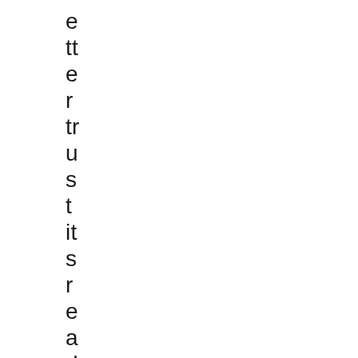e tt e r tr u s t it s r e a d i